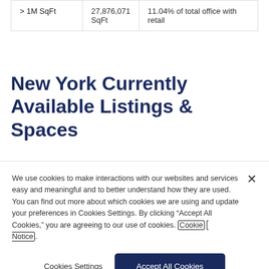| > 1M SqFt | 27,876,071 SqFt | 11.04% of total office with retail |
New York Currently Available Listings & Spaces
We use cookies to make interactions with our websites and services easy and meaningful and to better understand how they are used. You can find out more about which cookies we are using and update your preferences in Cookies Settings. By clicking "Accept All Cookies," you are agreeing to our use of cookies. Cookie Notice.
Cookies Settings | Accept All Cookies